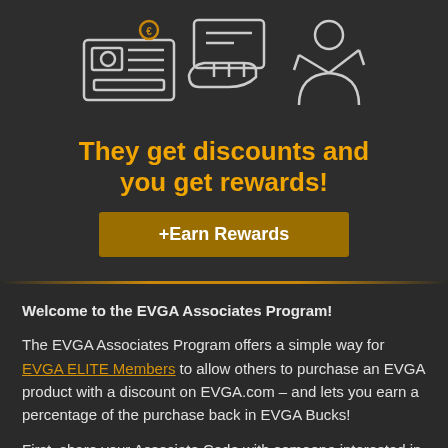[Figure (illustration): Line art icons of a gift card/currency and a hand receiving payment, plus a person icon, on dark background]
They get discounts and you get rewards!
+Earn Rewards
Welcome to the EVGA Associates Program!
The EVGA Associates Program offers a simple way for EVGA ELITE Members to allow others to purchase an EVGA product with a discount on EVGA.com – and lets you earn a percentage of the purchase back in EVGA Bucks!
First, share your Associate Code with someone interested in purchasing an EVGA product. You can also learn how to add your Associate Code to a